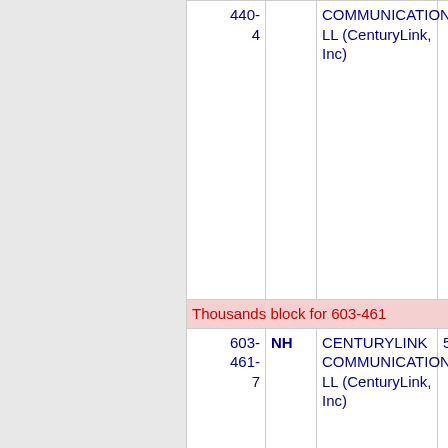| Number | State | Company Name | Code |
| --- | --- | --- | --- |
| 440-4 |  | COMMUNICATIONS, LL (CenturyLink, Inc) |  |
| Thousands block for 603-461 |  |  |  |
| 603-461-7 | NH | CENTURYLINK COMMUNICATIONS, LL (CenturyLink, Inc) | 508J |